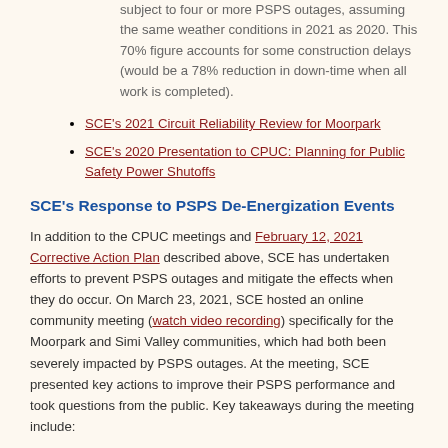subject to four or more PSPS outages, assuming the same weather conditions in 2021 as 2020. This 70% figure accounts for some construction delays (would be a 78% reduction in down-time when all work is completed).
SCE's 2021 Circuit Reliability Review for Moorpark
SCE's 2020 Presentation to CPUC: Planning for Public Safety Power Shutoffs
SCE's Response to PSPS De-Energization Events
In addition to the CPUC meetings and February 12, 2021 Corrective Action Plan described above, SCE has undertaken efforts to prevent PSPS outages and mitigate the effects when they do occur. On March 23, 2021, SCE hosted an online community meeting (watch video recording) specifically for the Moorpark and Simi Valley communities, which had both been severely impacted by PSPS outages. At the meeting, SCE presented key actions to improve their PSPS performance and took questions from the public. Key takeaways during the meeting include: